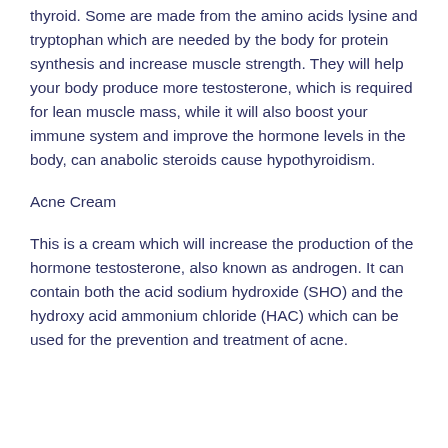thyroid. Some are made from the amino acids lysine and tryptophan which are needed by the body for protein synthesis and increase muscle strength. They will help your body produce more testosterone, which is required for lean muscle mass, while it will also boost your immune system and improve the hormone levels in the body, can anabolic steroids cause hypothyroidism.
Acne Cream
This is a cream which will increase the production of the hormone testosterone, also known as androgen. It can contain both the acid sodium hydroxide (SHO) and the hydroxy acid ammonium chloride (HAC) which can be used for the prevention and treatment of acne.